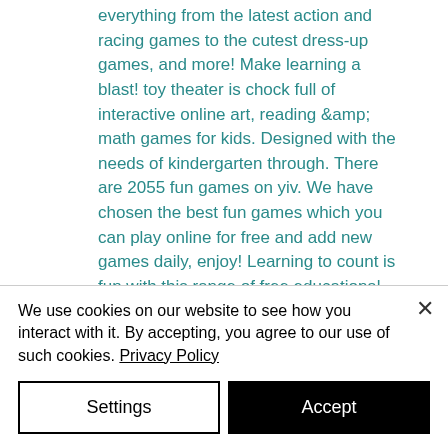everything from the latest action and racing games to the cutest dress-up games, and more! Make learning a blast! toy theater is chock full of interactive online art, reading &amp; math games for kids. Designed with the needs of kindergarten through. There are 2055 fun games on yiv. We have chosen the best fun games which you can play online for free and add new games daily, enjoy! Learning to count is fun with this range of free educational games for key stage 1 children. Start with the simple counting games and progress to numbers up. On
We use cookies on our website to see how you interact with it. By accepting, you agree to our use of such cookies. Privacy Policy
Settings
Accept